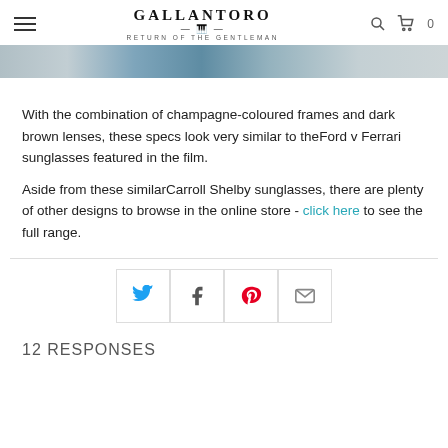GALLANTORO — RETURN OF THE GENTLEMAN
[Figure (photo): Partial cropped hero image of a person wearing sunglasses, blue and champagne tones]
With the combination of champagne-coloured frames and dark brown lenses, these specs look very similar to theFord v Ferrari sunglasses featured in the film.
Aside from these similarCarroll Shelby sunglasses, there are plenty of other designs to browse in the online store - click here to see the full range.
[Figure (infographic): Social sharing buttons row: Twitter (blue bird), Facebook (f), Pinterest (red P), Email (envelope)]
12 RESPONSES